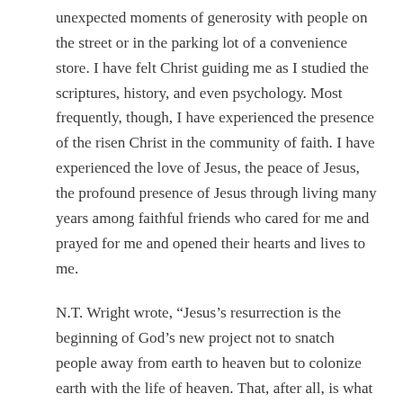unexpected moments of generosity with people on the street or in the parking lot of a convenience store.  I have felt Christ guiding me as I studied the scriptures, history, and even psychology.  Most frequently, though, I have experienced the presence of the risen Christ in the community of faith.  I have experienced the love of Jesus, the peace of Jesus, the profound presence of Jesus through living many years among faithful friends who cared for me and prayed for me and opened their hearts and lives to me.
N.T. Wright wrote, “Jesus’s resurrection is the beginning of God’s new project not to snatch people away from earth to heaven but to colonize earth with the life of heaven. That, after all, is what the Lord’s Prayer is about.  The resurrection completes the inauguration of God’s kingdom. . . . It is the decisive